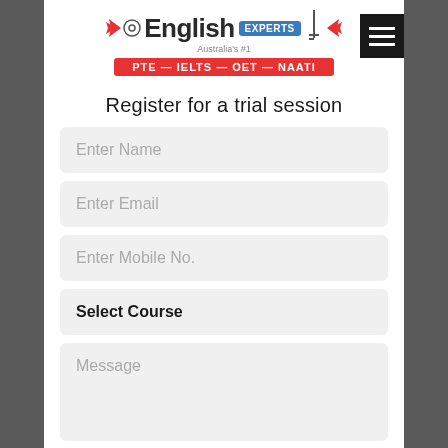[Figure (logo): English Experts logo with wings, eye icon, key, and PTE-IELTS-OET-NAATI tagline bar]
Register for a trial session
Enter Name
Enter Email
Enter Mobile No.
Select Course
Message
Register